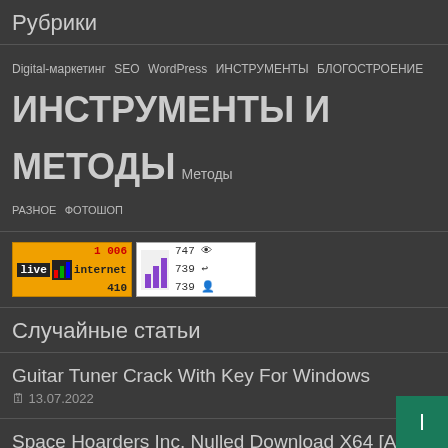Рубрики
Digital-маркетинг SEO WordPress ИНСТРУМЕНТЫ БЛОГОСТРОЕНИЕ ИНСТРУМЕНТЫ И МЕТОДЫ Методы РАЗНОЕ ФОТОШОП
[Figure (other): LiveInternet and stats banners showing visitor counts: 747 views, 739 entries, 739 users]
Случайные статьи
Guitar Tuner Crack With Key For Windows
13.07.2022
Space Hoarders Inc. Nulled Download X64 [April-2022]
21.07.2022
Really Easy Ways To Get Free Robux Free Download
6 дней тому назад
Свежие статьи